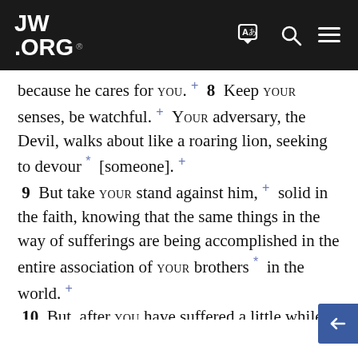JW.ORG
because he cares for YOU. + 8 Keep YOUR senses, be watchful. + YOUR adversary, the Devil, walks about like a roaring lion, seeking to devour * [someone]. + 9 But take YOUR stand against him, + solid in the faith, knowing that the same things in the way of sufferings are being accomplished in the entire association of YOUR brothers * in the world. + 10 But, after YOU have suffered a little while, + the God of all undeserved kindness, who called YOU to his everlasting glory + in union + with Christ, will himself finish YOUR training, he will make YOU firm, + he will make YOU strong. + 11 To him be the might + forever. Amen. 12 Through Sil·va'nus, * + a faithful brother, as I account him, I have written YOU in few [words], + to give encouragement and an earnest witness that this